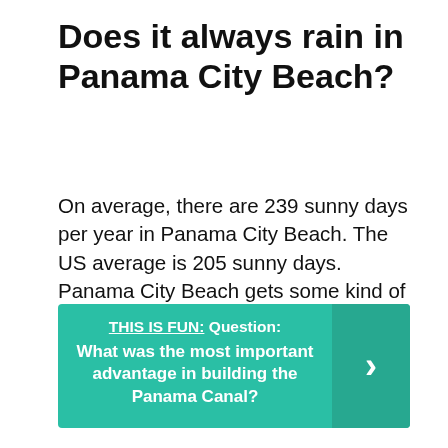Does it always rain in Panama City Beach?
On average, there are 239 sunny days per year in Panama City Beach. The US average is 205 sunny days. Panama City Beach gets some kind of precipitation, on average, 108 days per year. Precipitation is rain, snow, sleet, or hail that falls to the ground.
THIS IS FUN: Question: What was the most important advantage in building the Panama Canal?